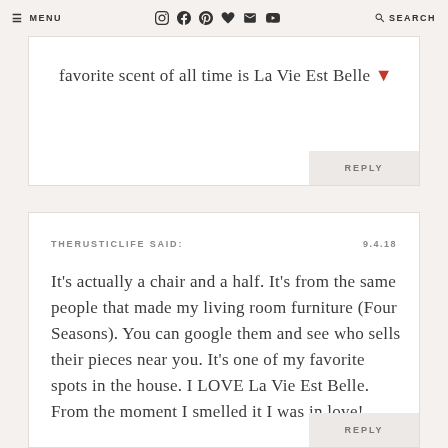≡ MENU   [icons]   🔍 SEARCH
favorite scent of all time is La Vie Est Belle ❤
REPLY
THERUSTICLIFE SAID:   9.4.18
It's actually a chair and a half. It's from the same people that made my living room furniture (Four Seasons). You can google them and see who sells their pieces near you. It's one of my favorite spots in the house. I LOVE La Vie Est Belle. From the moment I smelled it I was in love!
REPLY